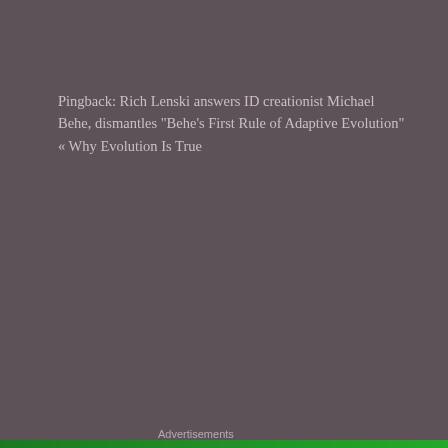Pingback: Rich Lenski answers ID creationist Michael Behe, dismantles "Behe's First Rule of Adaptive Evolution" « Why Evolution Is True
Advertisements
[Figure (screenshot): Advertisement banner showing 'Professionally designed sites' with a partial circular icon on the right]
[Figure (illustration): User avatar: orange/brown square icon with geometric diamond and circle pattern]
dfoll...d3  February 17, 2019 at 5:05 pm
Privacy & Cookies: This site uses cookies. By continuing to use this website, you agree to their use.
To find out more, including how to control cookies, see here: Cookie Policy
Close and accept